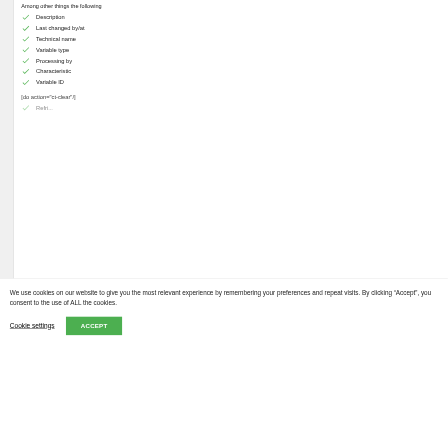Among other things the following
Description
Last changed by/at
Technical name
Variable type
Processing by
Characteristic
Variable ID
[do action="ct-clear"/]
We use cookies on our website to give you the most relevant experience by remembering your preferences and repeat visits. By clicking “Accept”, you consent to the use of ALL the cookies.
Cookie settings  ACCEPT